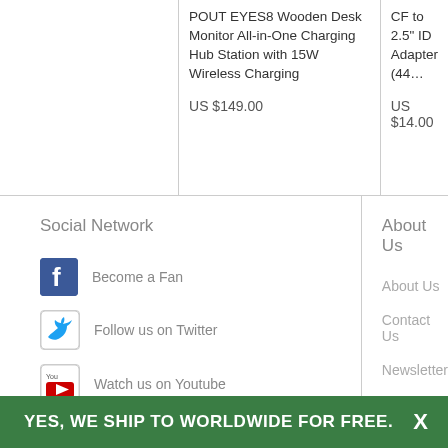POUT EYES8 Wooden Desk Monitor All-in-One Charging Hub Station with 15W Wireless Charging
US $149.00
CF to 2.5" ID Adapter (44...
US $14.00
Social Network
Become a Fan
Follow us on Twitter
Watch us on Youtube
About Us
About Us
Contact Us
Newsletter
Sign Up Our Newsletter
YES, WE SHIP TO WORLDWIDE FOR FREE.
X